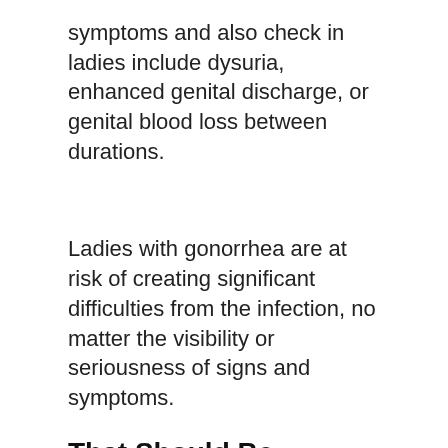symptoms and also check in ladies include dysuria, enhanced genital discharge, or genital blood loss between durations.
Ladies with gonorrhea are at risk of creating significant difficulties from the infection, no matter the visibility or seriousness of signs and symptoms.
That Should Be Examined For Gonorrhea?
Any sexually active person can be contaminated with gonorrhea. Any individual with genital signs and symptoms such as discharge, shedding during urination, uncommon sores, or rash